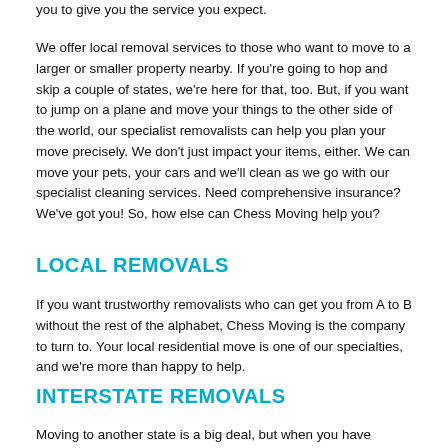you to give you the service you expect.
We offer local removal services to those who want to move to a larger or smaller property nearby. If you're going to hop and skip a couple of states, we're here for that, too. But, if you want to jump on a plane and move your things to the other side of the world, our specialist removalists can help you plan your move precisely. We don't just impact your items, either. We can move your pets, your cars and we'll clean as we go with our specialist cleaning services. Need comprehensive insurance? We've got you! So, how else can Chess Moving help you?
LOCAL REMOVALS
If you want trustworthy removalists who can get you from A to B without the rest of the alphabet, Chess Moving is the company to turn to. Your local residential move is one of our specialties, and we're more than happy to help.
INTERSTATE REMOVALS
Moving to another state is a big deal, but when you have Chess